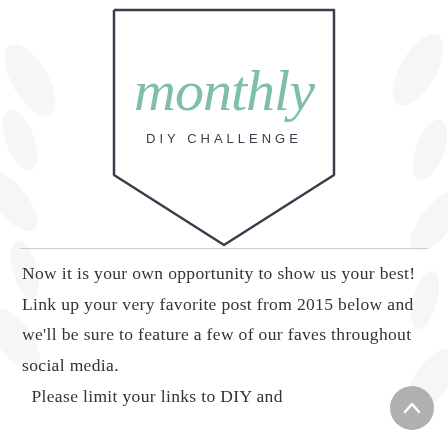[Figure (logo): Monthly DIY Challenge badge logo: a pentagon/chevron outline shape in dark slate color with 'monthly' in large sage green italic script font and 'DIY CHALLENGE' in small spaced caps below]
Now it is your own opportunity to show us your best! Link up your very favorite post from 2015 below and we’ll be sure to feature a few of our faves throughout social media.
Please limit your links to DIY and